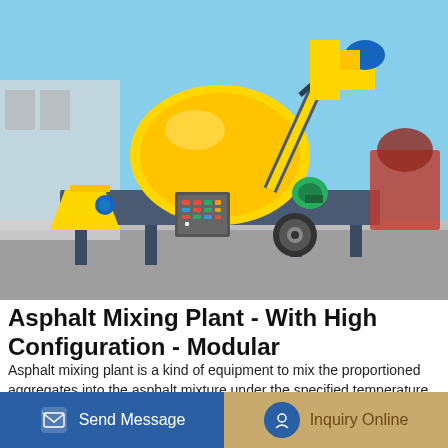[Figure (photo): Yellow asphalt mixing plant / concrete mixer machine on a trailer with control panel, set outdoors against a clear blue sky. Large yellow drum mixer, hydraulic arms, wheels, and a red secondary machine visible in background.]
Asphalt Mixing Plant - With High Configuration - Modular
Asphalt mixing plant is a kind of equipment to mix the proportioned aggregates into the asphalt mixture under the specified temperature. ALQ100 asphalt plant equipment Indonesia. And its main application is to produce asphalt, modified asphalt mixture, colored asphalt.
Send Message  |  Inquiry Online